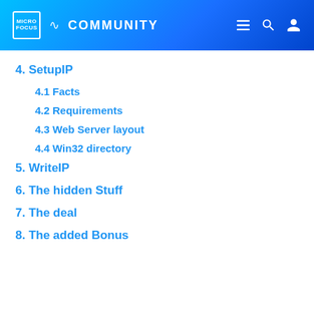Micro Focus Community
4. SetupIP
4.1 Facts
4.2 Requirements
4.3 Web Server layout
4.4 Win32 directory
5. WriteIP
6. The hidden Stuff
7. The deal
8. The added Bonus